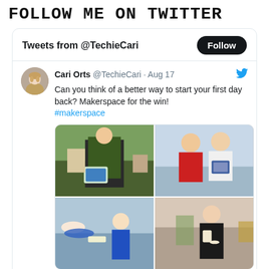FOLLOW ME ON TWITTER
Tweets from @TechieCari
Cari Orts @TechieCari · Aug 17
Can you think of a better way to start your first day back? Makerspace for the win!
#makerspace
[Figure (photo): Four photos of students in a classroom holding up small cards, likely name badges or ID cards. Students appear to be elementary school age in a makerspace activity.]